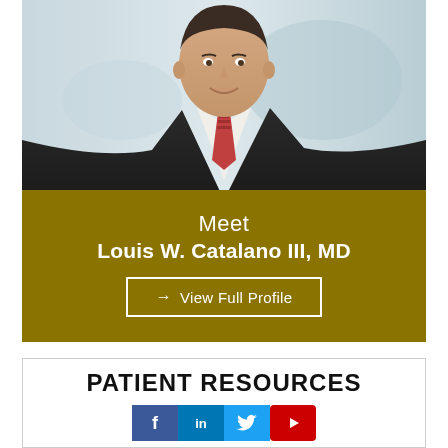[Figure (photo): Professional headshot of Louis W. Catalano III MD, a man in a dark suit with a red patterned tie, smiling, against a light blue/grey background]
Meet
Louis W. Catalano III, MD
→ View Full Profile
PATIENT RESOURCES